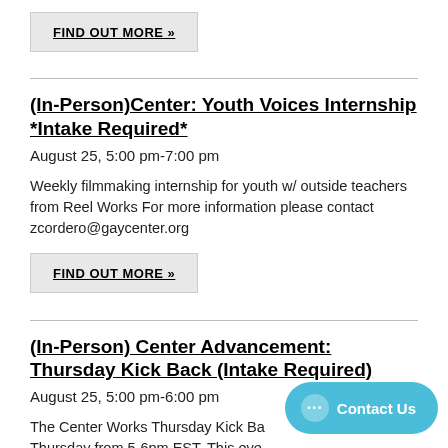FIND OUT MORE »
(In-Person)Center: Youth Voices Internship *Intake Required*
August 25, 5:00 pm-7:00 pm
Weekly filmmaking internship for youth w/ outside teachers from Reel Works For more information please contact zcordero@gaycenter.org
FIND OUT MORE »
(In-Person) Center Advancement: Thursday Kick Back (Intake Required)
August 25, 5:00 pm-6:00 pm
The Center Works Thursday Kick Back every Thursday from 5-6pm EST. This event requires Intake is required The Thursday Kickback is a chance to mingle with others on a fellows age 18. The ...